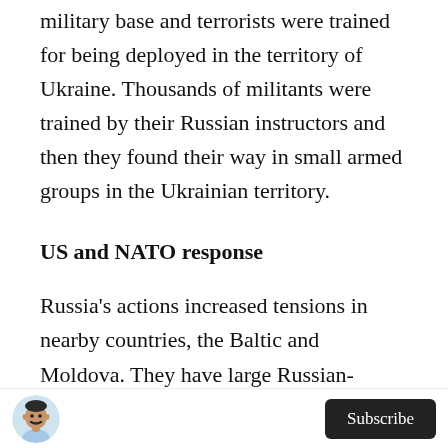military base and terrorists were trained for being deployed in the territory of Ukraine. Thousands of militants were trained by their Russian instructors and then they found their way in small armed groups in the Ukrainian territory.
US and NATO response
Russia's actions increased tensions in nearby countries, the Baltic and Moldova. They have large Russian-speaking populations with Russian troops being stationed in Moldova. Some of these countries increased their defensive capabilities and others
[Figure (photo): Small circular avatar photo of a man with a mustache wearing a light blue shirt]